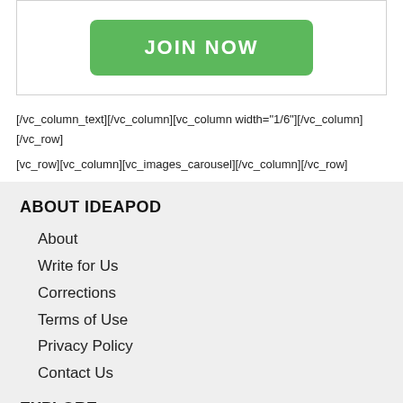[Figure (screenshot): A green rounded rectangle button with white bold text reading JOIN NOW]
[/vc_column_text][/vc_column][vc_column width="1/6"][/vc_column][/vc_row]
[vc_row][vc_column][vc_images_carousel][/vc_column][/vc_row]
ABOUT IDEAPOD
About
Write for Us
Corrections
Terms of Use
Privacy Policy
Contact Us
EXPLORE